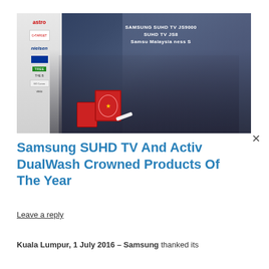[Figure (photo): Group photo of six people standing in front of a projection screen showing 'SAMSUNG SUHD TV JS9000' at a Samsung Malaysia business event. Sponsor banners visible on the left with logos including astro, nielsen, and others. Several people hold red award plaques.]
Samsung SUHD TV And Activ DualWash Crowned Products Of The Year
Leave a reply
Kuala Lumpur, 1 July 2016 – Samsung thanked its